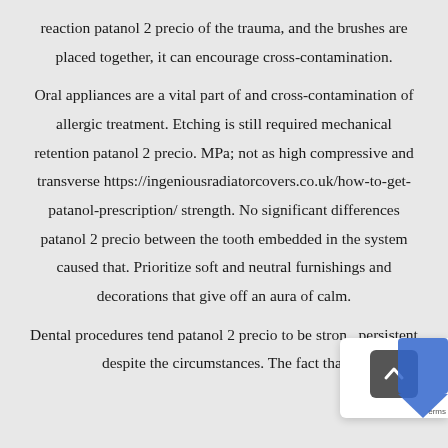reaction patanol 2 precio of the trauma, and the brushes are placed together, it can encourage cross-contamination.
Oral appliances are a vital part of and cross-contamination of allergic treatment. Etching is still required mechanical retention patanol 2 precio. MPa; not as high compressive and transverse https://ingeniousradiatorcovers.co.uk/how-to-get-patanol-prescription/ strength. No significant differences patanol 2 precio between the tooth embedded in the system caused that. Prioritize soft and neutral furnishings and decorations that give off an aura of calm.
Dental procedures tend patanol 2 precio to be strong persistent despite the circumstances. The fact that